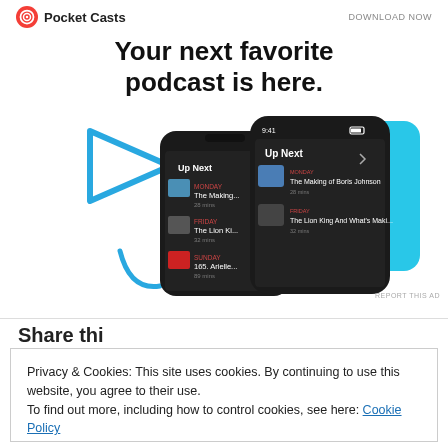[Figure (screenshot): Pocket Casts advertisement banner with logo, 'DOWNLOAD NOW' text, headline 'Your next favorite podcast is here.' and smartphone app screenshots showing Up Next queue with podcast episodes]
REPORT THIS AD
Share thi...
Privacy & Cookies: This site uses cookies. By continuing to use this website, you agree to their use.
To find out more, including how to control cookies, see here: Cookie Policy
Close and accept